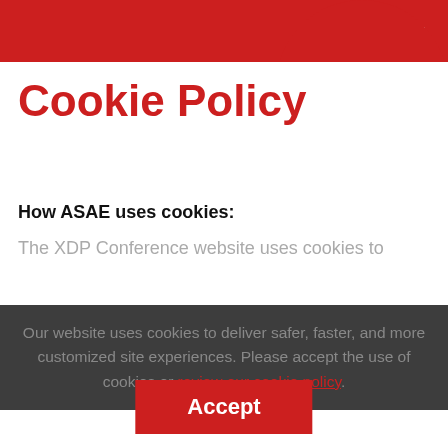Menu
Tickets
Cookie Policy
How ASAE uses cookies:
The XDP Conference website uses cookies to
Our website uses cookies to deliver safer, faster, and more customized site experiences. Please accept the use of cookies or review our cookie policy.
Accept